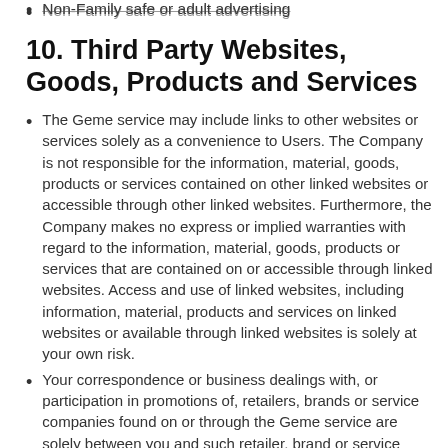Non-Family safe or adult advertising
10. Third Party Websites, Goods, Products and Services
The Geme service may include links to other websites or services solely as a convenience to Users. The Company is not responsible for the information, material, goods, products or services contained on other linked websites or accessible through other linked websites. Furthermore, the Company makes no express or implied warranties with regard to the information, material, goods, products or services that are contained on or accessible through linked websites. Access and use of linked websites, including information, material, products and services on linked websites or available through linked websites is solely at your own risk.
Your correspondence or business dealings with, or participation in promotions of, retailers, brands or service companies found on or through the Geme service are solely between you and such retailer, brand or service company. You agree that the Company shall not be responsible or liable for any loss or damage of any sort incurred as the result of any such dealings or as the result of the presence of such retailers, brands or service